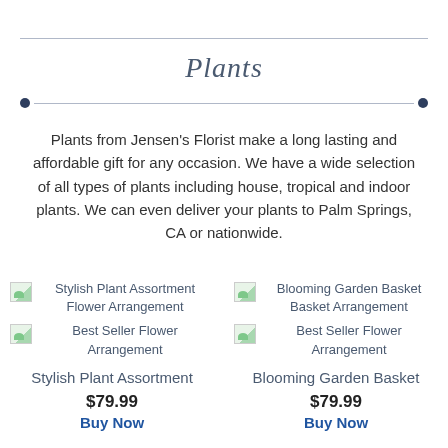Plants
Plants from Jensen's Florist make a long lasting and affordable gift for any occasion. We have a wide selection of all types of plants including house, tropical and indoor plants. We can even deliver your plants to Palm Springs, CA or nationwide.
[Figure (illustration): Broken image icon for Stylish Plant Assortment Flower Arrangement]
Stylish Plant Assortment Flower Arrangement
[Figure (illustration): Broken image icon for Best Seller Flower Arrangement]
Best Seller Flower Arrangement
Stylish Plant Assortment
$79.99
Buy Now
[Figure (illustration): Broken image icon for Blooming Garden Basket Basket Arrangement]
Blooming Garden Basket Basket Arrangement
[Figure (illustration): Broken image icon for Best Seller Flower Arrangement]
Best Seller Flower Arrangement
Blooming Garden Basket
$79.99
Buy Now